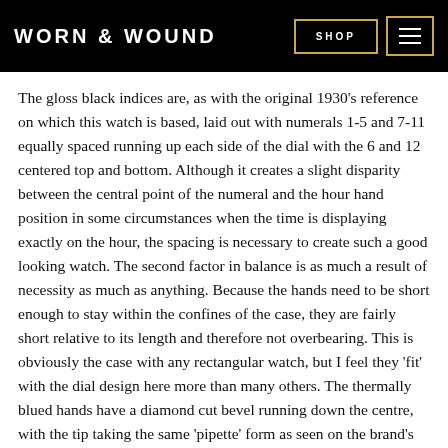WORN & WOUND
The gloss black indices are, as with the original 1930’s reference on which this watch is based, laid out with numerals 1-5 and 7-11 equally spaced running up each side of the dial with the 6 and 12 centered top and bottom. Although it creates a slight disparity between the central point of the numeral and the hour hand position in some circumstances when the time is displaying exactly on the hour, the spacing is necessary to create such a good looking watch. The second factor in balance is as much a result of necessity as much as anything. Because the hands need to be short enough to stay within the confines of the case, they are fairly short relative to its length and therefore not overbearing. This is obviously the case with any rectangular watch, but I feel they ‘fit’ with the dial design here more than many others. The thermally blued hands have a diamond cut bevel running down the centre, with the tip taking the same ‘pipette’ form as seen on the brand’s Brunswick models